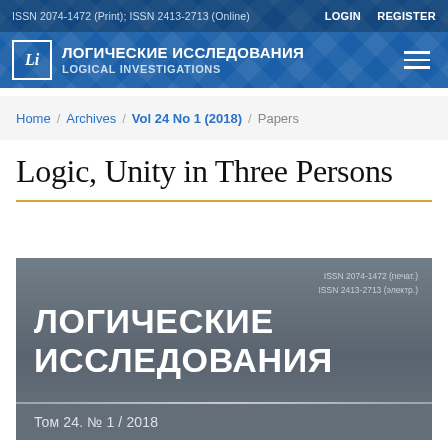ISSN 2074-1472 (Print); ISSN 2413-2713 (Online)   LOGIN   REGISTER
ЛОГИЧЕСКИЕ ИССЛЕДОВАНИЯ / LOGICAL INVESTIGATIONS
Home / Archives / Vol 24 No 1 (2018) / Papers
Logic, Unity in Three Persons
[Figure (other): Journal cover for Логические Исследования (Logical Investigations), Vol 24 No 1, 2018. Grey gradient background with ISSN numbers top right, large white bold Cyrillic title text, and volume information strip at bottom.]